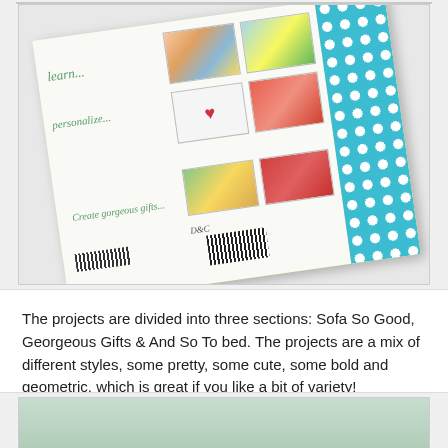[Figure (photo): Photo of the back cover of a craft/sewing book. The book has a green and cream back cover with thumbnail photos of projects (pillows, gifts, cushions with hearts), handwritten-style text reading 'learn...' and 'personalize...' and 'Create gorgeous gifts...', a barcode, and a D&C publisher logo. The book spine is teal/aqua with white polka dots. The book is photographed at an angle on a white surface.]
The projects are divided into three sections: Sofa So Good, Georgeous Gifts & And So To bed. The projects are a mix of different styles, some pretty, some cute, some bold and geometric, which is great if you like a bit of variety!
[Figure (photo): Partial photo of what appears to be a light green/mint colored book or object on a white surface, cropped at the bottom of the page.]